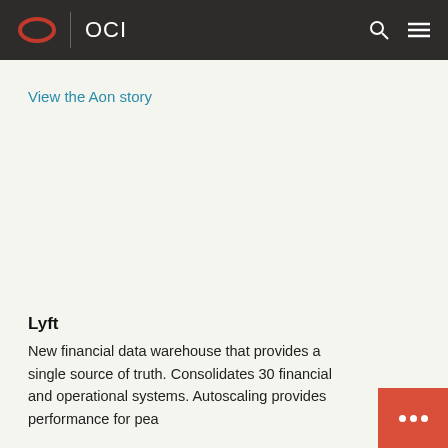OCI
View the Aon story
Lyft
New financial data warehouse that provides a single source of truth. Consolidates 30 financial and operational systems. Autoscaling provides performance for peak...